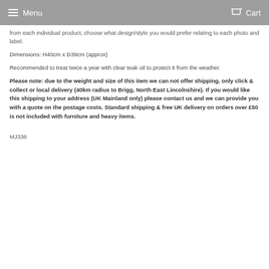Menu  Cart
from each individual product, choose what design/style you would prefer relating to each photo and label.
Dimensions: H40cm x D39cm (approx)
Recommended to treat twice a year with clear teak oil to protect it from the weather.
Please note: due to the weight and size of this item we can not offer shipping, only click & collect or local delivery (40km radius to Brigg, North East Lincolnshire). If you would like this shipping to your address (UK Mainland only) please contact us and we can provide you with a quote on the postage costs. Standard shipping & free UK delivery on orders over £50 is not included with furniture and heavy items.
MJ336